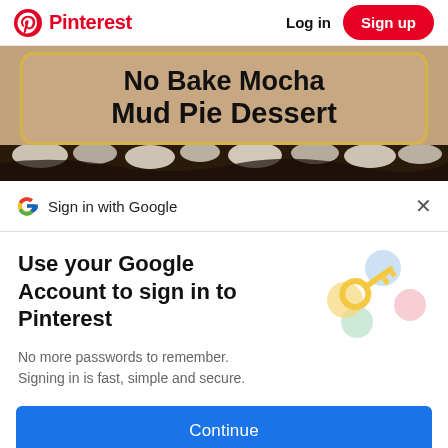Pinterest   Log in   Sign up
[Figure (photo): Partially visible food blog image showing a tan/beige card with yellow border and text 'No Bake Mocha Mud Pie Dessert', with chocolate dessert visible at the bottom]
Sign in with Google
Use your Google Account to sign in to Pinterest
No more passwords to remember.
Signing in is fast, simple and secure.
Continue